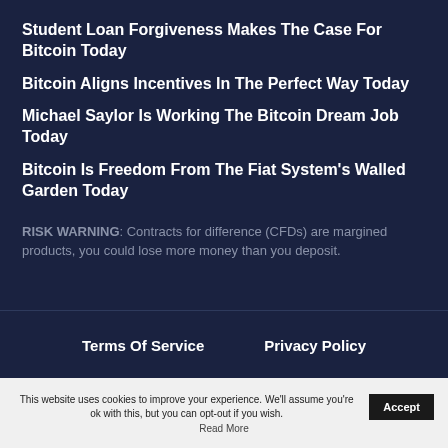Student Loan Forgiveness Makes The Case For Bitcoin Today
Bitcoin Aligns Incentives In The Perfect Way Today
Michael Saylor Is Working The Bitcoin Dream Job Today
Bitcoin Is Freedom From The Fiat System's Walled Garden Today
RISK WARNING: Contracts for difference (CFDs) are margined products, you could lose more money than you deposit.
Terms Of Service   Privacy Policy
This website uses cookies to improve your experience. We'll assume you're ok with this, but you can opt-out if you wish. Accept Read More